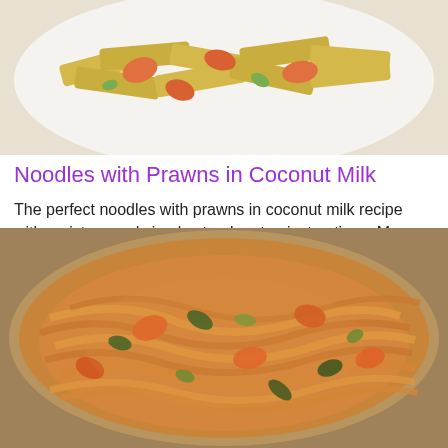[Figure (photo): Close-up photo of penne pasta with prawns on a white plate, showing yellow pasta tubes and orange-red shrimp pieces]
Noodles with Prawns in Coconut Milk
The perfect noodles with prawns in coconut milk recipe with a picture and simple step-by-step instructions. More...
[Figure (photo): Overhead photo of a bowl of flat noodles coated in an orange-yellow coconut milk sauce with prawns, vegetables, and dark leafy greens]